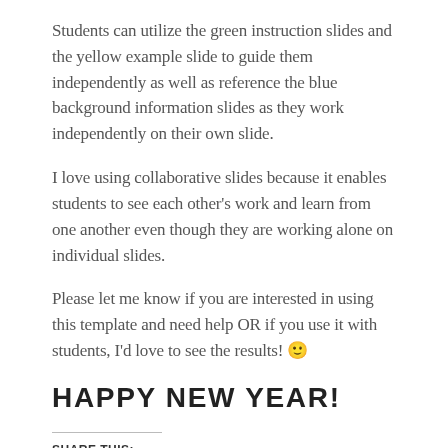Students can utilize the green instruction slides and the yellow example slide to guide them independently as well as reference the blue background information slides as they work independently on their own slide.
I love using collaborative slides because it enables students to see each other’s work and learn from one another even though they are working alone on individual slides.
Please let me know if you are interested in using this template and need help OR if you use it with students, I’d love to see the results! 🙂
HAPPY NEW YEAR!
SHARE THIS:
Twitter   Facebook